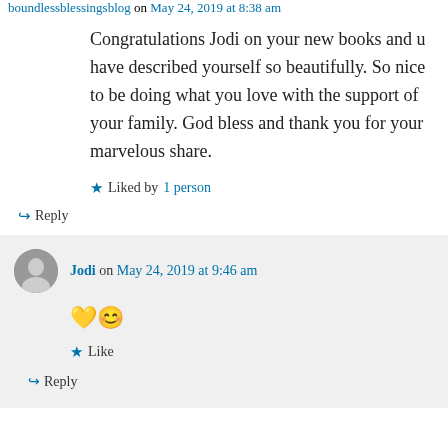boundlessblessingsblog on May 24, 2019 at 8:38 am
Congratulations Jodi on your new books and u have described yourself so beautifully. So nice to be doing what you love with the support of your family. God bless and thank you for your marvelous share.
Liked by 1 person
↳ Reply
Jodi on May 24, 2019 at 9:46 am
💛😄
Like
↳ Reply